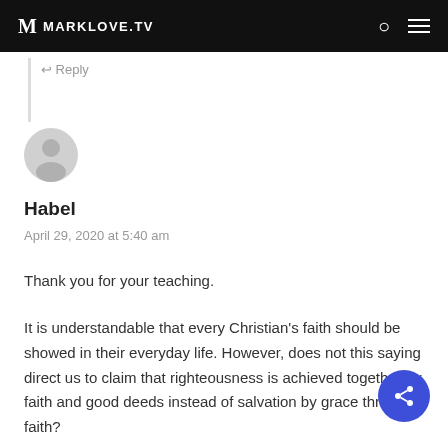MARKLOVE.TV
↩ Reply
[Figure (illustration): Generic user avatar — grey circle with a stylized person silhouette]
Habel
April 29, 2020 at 5:40 am
Thank you for your teaching.
It is understandable that every Christian's faith should be showed in their everyday life. However, does not this saying direct us to claim that righteousness is achieved together by faith and good deeds instead of salvation by grace through faith?